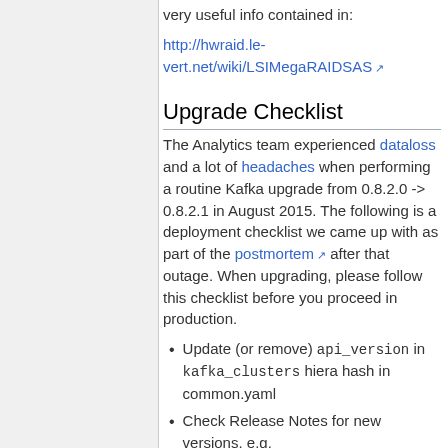very useful info contained in:
http://hwraid.le-vert.net/wiki/LSIMegaRAIDSAS
Upgrade Checklist
The Analytics team experienced dataloss and a lot of headaches when performing a routine Kafka upgrade from 0.8.2.0 -> 0.8.2.1 in August 2015. The following is a deployment checklist we came up with as part of the postmortem after that outage. When upgrading, please follow this checklist before you proceed in production.
Update (or remove) api_version in kafka_clusters hiera hash in common.yaml
Check Release Notes for new versions. e.g.
https://archive.apache.org/dist/kafka/